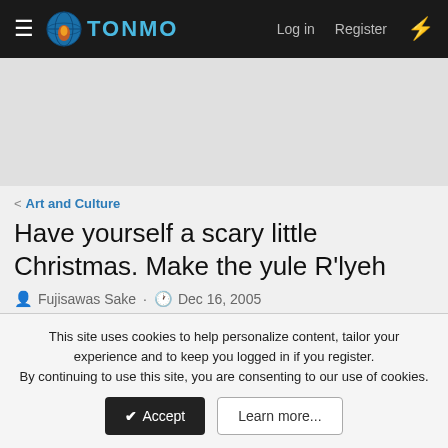TONMO — Log in  Register
[Figure (screenshot): Advertisement / banner space placeholder]
< Art and Culture
Have yourself a scary little Christmas. Make the yule R'lyeh
Fujisawas Sake · Dec 16, 2005
1 of 2  Next ▶  ▶▶
This site uses cookies to help personalize content, tailor your experience and to keep you logged in if you register.
By continuing to use this site, you are consenting to our use of cookies.
✔ Accept    Learn more...